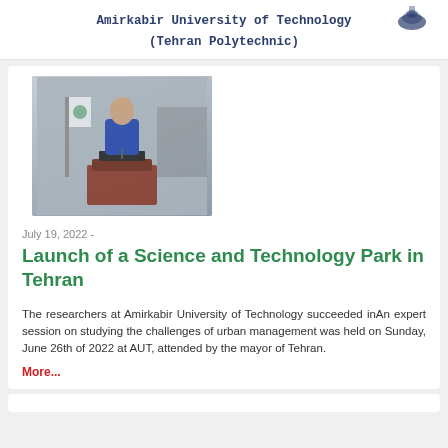Amirkabir University of Technology
(Tehran Polytechnic)
[Figure (photo): A person in a blue suit speaking at a podium with a microphone and a flag visible in the background.]
July 19, 2022 -
Launch of a Science and Technology Park in Tehran
The researchers at Amirkabir University of Technology succeeded inAn expert session on studying the challenges of urban management was held on Sunday, June 26th of 2022 at AUT, attended by the mayor of Tehran.
More...